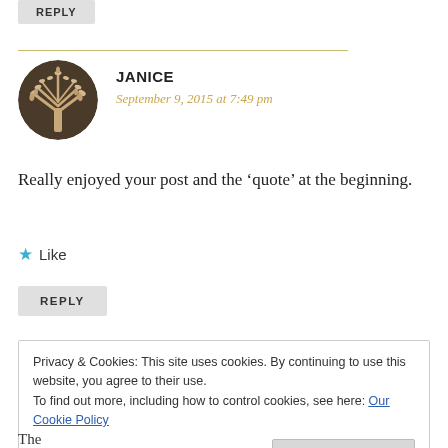REPLY
JANICE
September 9, 2015 at 7:49 pm
Really enjoyed your post and the ‘quote’ at the beginning.
★ Like
REPLY
Privacy & Cookies: This site uses cookies. By continuing to use this website, you agree to their use.
To find out more, including how to control cookies, see here: Our Cookie Policy
Close and accept
The